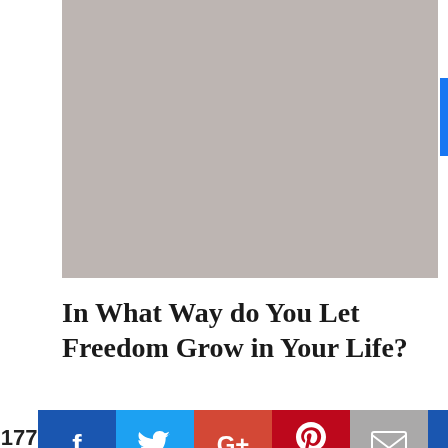[Figure (photo): Large gray placeholder image area at top of page]
In What Way do You Let Freedom Grow in Your Life?
177 Shares
[Figure (infographic): Social sharing buttons row: Facebook, Twitter, Google+, Pinterest (175), Email, and one more blue button]